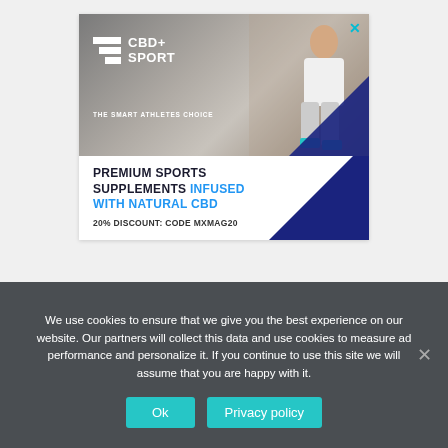[Figure (advertisement): CBD+ Sport advertisement with woman athlete tying shoe laces. Logo shows 'CBD+ SPORT - THE SMART ATHLETES CHOICE'. Bottom text: 'PREMIUM SPORTS SUPPLEMENTS INFUSED WITH NATURAL CBD. 20% DISCOUNT: CODE MXMAG20'. Dark navy blue triangle decoration in bottom right corner.]
We use cookies to ensure that we give you the best experience on our website. Our partners will collect this data and use cookies to measure ad performance and personalize it. If you continue to use this site we will assume that you are happy with it.
Ok
Privacy policy